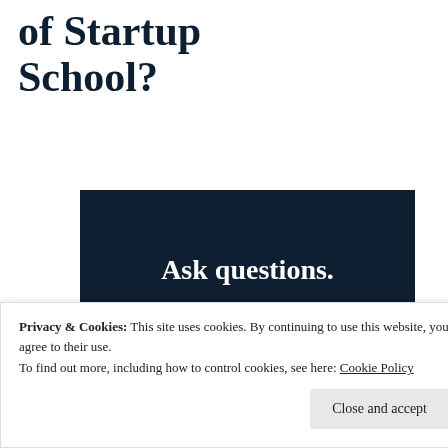of Startup School?
[Figure (other): Dark navy banner with large white bold text reading 'Ask questions.']
Privacy & Cookies: This site uses cookies. By continuing to use this website, you agree to their use.
To find out more, including how to control cookies, see here: Cookie Policy
Close and accept